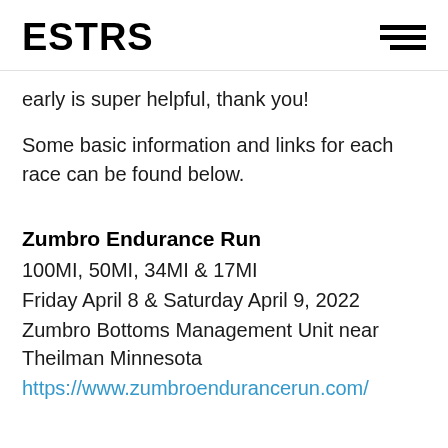ESTRS
early is super helpful, thank you!
Some basic information and links for each race can be found below.
Zumbro Endurance Run
100MI, 50MI, 34MI & 17MI
Friday April 8 & Saturday April 9, 2022
Zumbro Bottoms Management Unit near Theilman Minnesota
https://www.zumbroendurancerun.com/